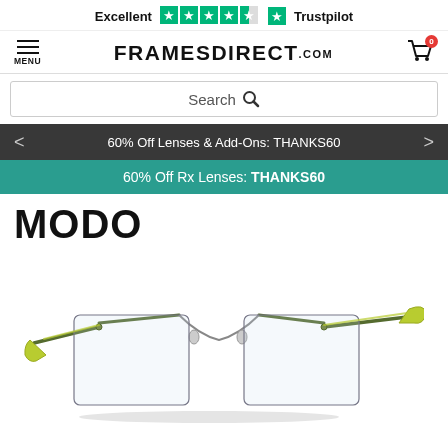[Figure (screenshot): Trustpilot rating bar showing 'Excellent' with 4.5 green stars and Trustpilot logo]
FRAMESDIRECT.COM — navigation bar with hamburger MENU, site title, and cart icon showing 0 items
[Figure (screenshot): Search bar with magnifying glass icon]
60% Off Lenses & Add-Ons: THANKS60
60% Off Rx Lenses: THANKS60
MODO
[Figure (photo): Rimless rectangular eyeglasses with olive/dark green metal bridge and temples, with yellow-green/lime colored temple tips, product photo on white background]